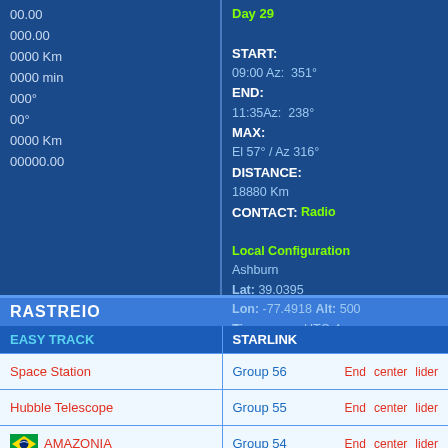00.00
000.00
0000 Km
0000 min
000°
00°
0000 Km
00000.00
Day 29
START: 09:00 Az: 351°
END: 11:35 Az: 238°
MAX: El 57° / Az 316°
DISTANCE: 18880 Km
CONTACT: Radio
Local Configuration
Ashburn
Lat: 39.0395
Lon: -77.4918 Alt: 500
Timezone: UTC-4
RASTREIO
| EASY TRACK | STARLINK |
| --- | --- |
| Space Station | Group 56  End  center  lider |
| Hubble Telescope | Group 55  End  center  lider |
| 🇧🇷 AMAZONIA | Group 54  End  center  lider |
| 🇨🇳 China Space Station |  |